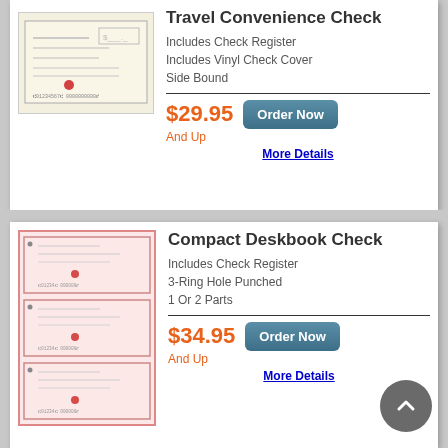[Figure (illustration): Travel Convenience Check product image showing a check with beige background and a red dot stamp]
Travel Convenience Check
Includes Check Register
Includes Vinyl Check Cover
Side Bound
$29.95
And Up
More Details
[Figure (illustration): Compact Deskbook Check product image showing three pink-tinted checks stacked]
Compact Deskbook Check
Includes Check Register
3-Ring Hole Punched
1 Or 2 Parts
$34.95
And Up
More Details